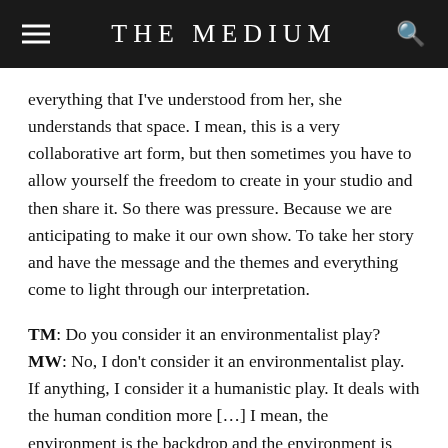THE MEDIUM
everything that I've understood from her, she understands that space. I mean, this is a very collaborative art form, but then sometimes you have to allow yourself the freedom to create in your studio and then share it. So there was pressure. Because we are anticipating to make it our own show. To take her story and have the message and the themes and everything come to light through our interpretation.
TM: Do you consider it an environmentalist play?
MW: No, I don't consider it an environmentalist play. If anything, I consider it a humanistic play. It deals with the human condition more […] I mean, the environment is the backdrop and the environment is sort of this force that acts on top of it and within it. But if it wasn't environmentalism it would be Hamilton and factories and Toronto's east end […]